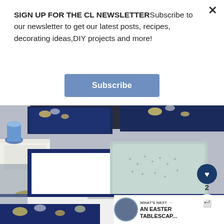SIGN UP FOR THE CL NEWSLETTERSubscribe to our newsletter to get our latest posts, recipes, decorating ideas,DIY projects and more!
Subscribe
[Figure (photo): A styled bedroom scene with navy blue and white bedding featuring floral prints, decorative pillows including a light blue dotted pillow, a white nightstand with a gold stool, and a blue ceramic vase. Overlay elements include a heart button, share button, a count of 2, and a 'What's Next' bar showing 'AN EASTER TABLESCAP...']
WHAT'S NEXT → AN EASTER TABLESCAP...